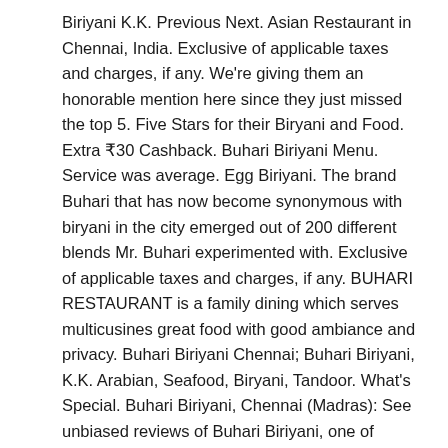Biriyani K.K. Previous Next. Asian Restaurant in Chennai, India. Exclusive of applicable taxes and charges, if any. We're giving them an honorable mention here since they just missed the top 5. Five Stars for their Biryani and Food. Extra ₹30 Cashback. Buhari Biriyani Menu. Service was average. Egg Biriyani. The brand Buhari that has now become synonymous with biryani in the city emerged out of 200 different blends Mr. Buhari experimented with. Exclusive of applicable taxes and charges, if any. BUHARI RESTAURANT is a family dining which serves multicusines great food with good ambiance and privacy. Buhari Biriyani Chennai; Buhari Biriyani, K.K. Arabian, Seafood, Biryani, Tandoor. What's Special. Buhari Biriyani, Chennai (Madras): See unbiased reviews of Buhari Biriyani, one of 6,618 Chennai (Madras) restaurants listed on Tripadvisor. We visited Buhari hotel today .It was completely packed as it was holiday today .We tried Buhari special mutton biryani which was very authentic